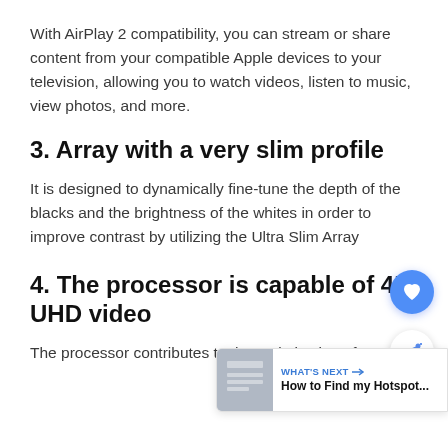With AirPlay 2 compatibility, you can stream or share content from your compatible Apple devices to your television, allowing you to watch videos, listen to music, view photos, and more.
3. Array with a very slim profile
It is designed to dynamically fine-tune the depth of the blacks and the brightness of the whites in order to improve contrast by utilizing the Ultra Slim Array
4. The processor is capable of 4K UHD video
The processor contributes to the optimization of
[Figure (screenshot): UI overlay elements: a blue heart/favorite button, a white share button, and a 'What's Next' banner showing 'How to Find my Hotspot...' with a thumbnail image]